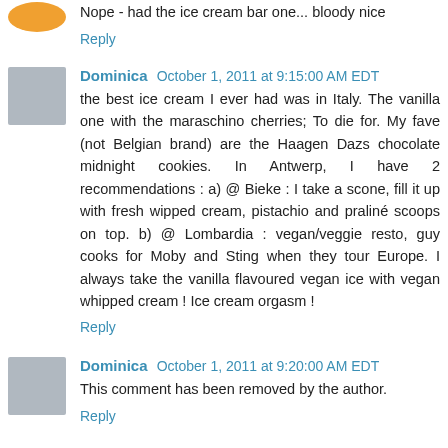Nope - had the ice cream bar one... bloody nice
Reply
Dominica October 1, 2011 at 9:15:00 AM EDT
the best ice cream I ever had was in Italy. The vanilla one with the maraschino cherries; To die for. My fave (not Belgian brand) are the Haagen Dazs chocolate midnight cookies. In Antwerp, I have 2 recommendations : a) @ Bieke : I take a scone, fill it up with fresh wipped cream, pistachio and praliné scoops on top. b) @ Lombardia : vegan/veggie resto, guy cooks for Moby and Sting when they tour Europe. I always take the vanilla flavoured vegan ice with vegan whipped cream ! Ice cream orgasm !
Reply
Dominica October 1, 2011 at 9:20:00 AM EDT
This comment has been removed by the author.
Reply